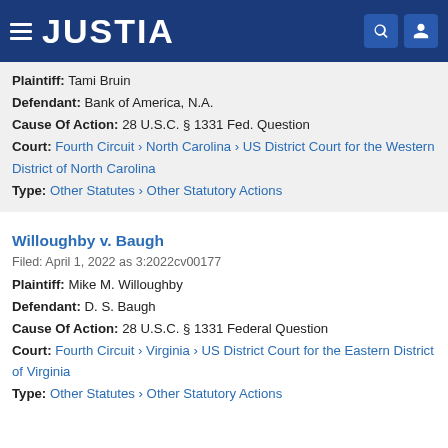[Figure (logo): Justia website header with hamburger menu, JUSTIA logo in white on dark blue background, search and user icons]
Plaintiff: Tami Bruin
Defendant: Bank of America, N.A.
Cause Of Action: 28 U.S.C. § 1331 Fed. Question
Court: Fourth Circuit › North Carolina › US District Court for the Western District of North Carolina
Type: Other Statutes › Other Statutory Actions
Willoughby v. Baugh
Filed: April 1, 2022 as 3:2022cv00177
Plaintiff: Mike M. Willoughby
Defendant: D. S. Baugh
Cause Of Action: 28 U.S.C. § 1331 Federal Question
Court: Fourth Circuit › Virginia › US District Court for the Eastern District of Virginia
Type: Other Statutes › Other Statutory Actions